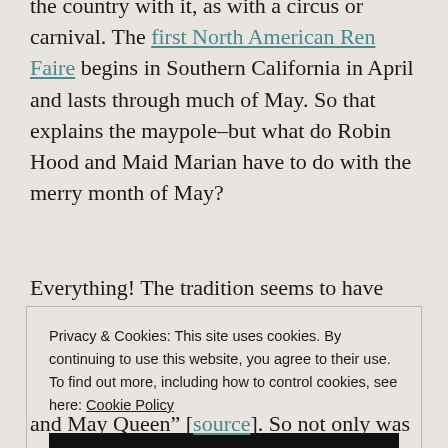the country with it, as with a circus or carnival. The first North American Ren Faire begins in Southern California in April and lasts through much of May. So that explains the maypole–but what do Robin Hood and Maid Marian have to do with the merry month of May?
Everything! The tradition seems to have started in Tudor England, in Nottinghamshire, the birthplace
Privacy & Cookies: This site uses cookies. By continuing to use this website, you agree to their use. To find out more, including how to control cookies, see here: Cookie Policy
Close and accept
and May Queen" [source]. So not only was May Eve